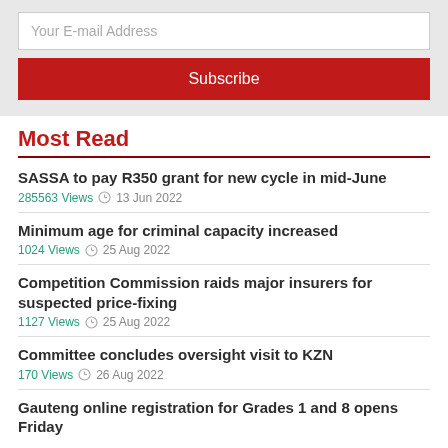Your E-mail Address
Subscribe
Most Read
SASSA to pay R350 grant for new cycle in mid-June
285563 Views  13 Jun 2022
Minimum age for criminal capacity increased
1024 Views  25 Aug 2022
Competition Commission raids major insurers for suspected price-fixing
1127 Views  25 Aug 2022
Committee concludes oversight visit to KZN
170 Views  26 Aug 2022
Gauteng online registration for Grades 1 and 8 opens Friday